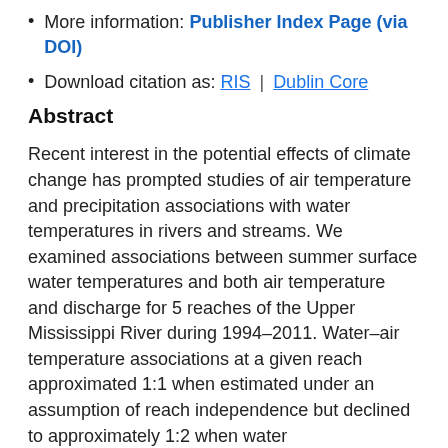More information: Publisher Index Page (via DOI)
Download citation as: RIS | Dublin Core
Abstract
Recent interest in the potential effects of climate change has prompted studies of air temperature and precipitation associations with water temperatures in rivers and streams. We examined associations between summer surface water temperatures and both air temperature and discharge for 5 reaches of the Upper Mississippi River during 1994–2011. Water–air temperature associations at a given reach approximated 1:1 when estimated under an assumption of reach independence but declined to approximately 1:2 when water